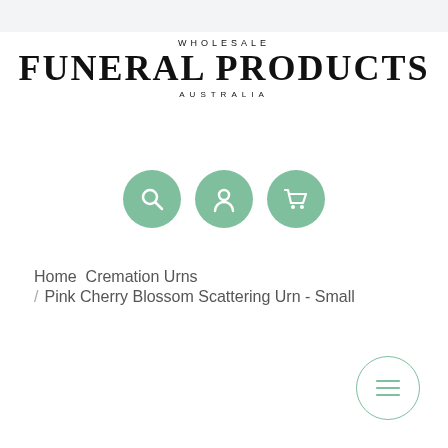[Figure (logo): Wholesale Funeral Products Australia logo with large serif text]
[Figure (infographic): Three green circular icon buttons: search (magnifying glass), account (person), and cart (shopping cart)]
Home Cremation Urns
/ Pink Cherry Blossom Scattering Urn - Small
[Figure (other): Round menu button with three horizontal lines (hamburger menu icon), outlined in green]